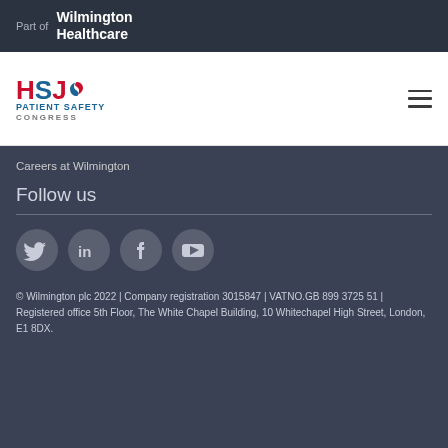Part of Wilmington Healthcare
[Figure (logo): HSJ Patient Safety Congress logo with red and blue text and swirl icon]
Careers at Wilmington
Follow us
[Figure (infographic): Social media icons: Twitter, LinkedIn, Facebook, YouTube]
© Wilmington plc 2022 | Company registration 3015847 | VATNO.GB 899 3725 51 | Registered office 5th Floor, The White Chapel Building, 10 Whitechapel High Street, London, E1 8DX.